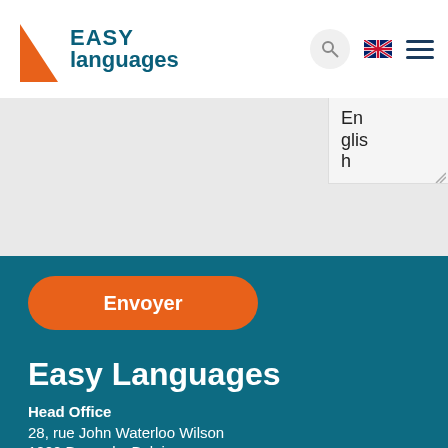[Figure (logo): Easy Languages logo with orange triangle accent and blue text]
English
Envoyer
Easy Languages
Head Office
28, rue John Waterloo Wilson
1000 Brussels, Belgium
Contact us
+ 33 7 68 87 10 67
easylanguagesUK@easylanguages.com